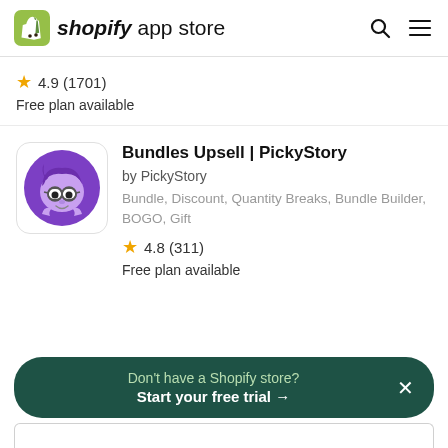shopify app store
★ 4.9 (1701)
Free plan available
[Figure (logo): PickyStory app icon: purple circle with cartoon character wearing glasses]
Bundles Upsell | PickyStory
by PickyStory
Bundle, Discount, Quantity Breaks, Bundle Builder, BOGO, Gift
★ 4.8 (311)
Free plan available
Don't have a Shopify store?
Start your free trial →